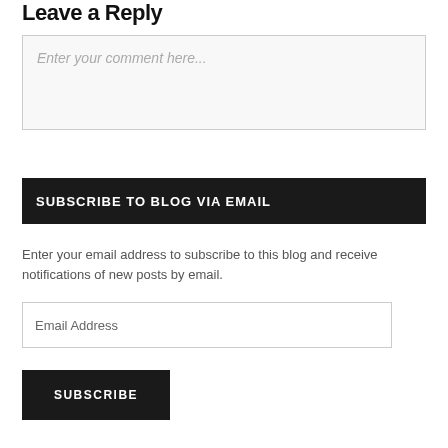Leave a Reply
Enter your comment here...
SUBSCRIBE TO BLOG VIA EMAIL
Enter your email address to subscribe to this blog and receive notifications of new posts by email.
Email Address
SUBSCRIBE